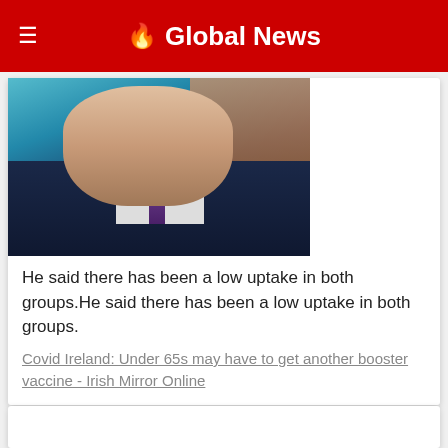🔥 Global News
[Figure (photo): Photo of a man in a dark suit with white shirt and purple tie, speaking, against a teal/blue background]
He said there has been a low uptake in both groups.He said there has been a low uptake in both groups.
Covid Ireland: Under 65s may have to get another booster vaccine - Irish Mirror Online